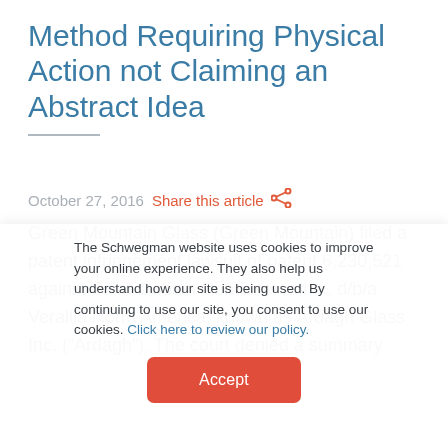Method Requiring Physical Action not Claiming an Abstract Idea
October 27, 2016  Share this article
Green Mountain Glass (Green Mountain) filed a patent infringement lawsuit of patent 6,230,521 against Saint-Gobain Containers, Inc., d/b/a Verallia North America, known as Ardagh Glass Inc. (“Ardagh”). The court denied a summary
The Schwegman website uses cookies to improve your online experience. They also help us understand how our site is being used. By continuing to use our site, you consent to use our cookies. Click here to review our policy.
Accept